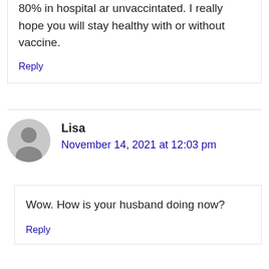80% in hospital ar unvaccintated. I really hope you will stay healthy with or without vaccine.
Reply
Lisa
November 14, 2021 at 12:03 pm
Wow. How is your husband doing now?
Reply